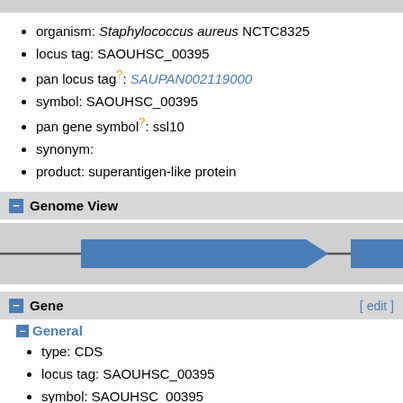organism: Staphylococcus aureus NCTC8325
locus tag: SAOUHSC_00395
pan locus tag?: SAUPAN002119000
symbol: SAOUHSC_00395
pan gene symbol?: ssl10
synonym:
product: superantigen-like protein
Genome View
[Figure (other): Genome view showing two blue arrow-shaped gene features on a gray background with a horizontal line representing the genome.]
Gene
General
type: CDS
locus tag: SAOUHSC_00395
symbol: SAOUHSC_00395
product: superantigen-like protein